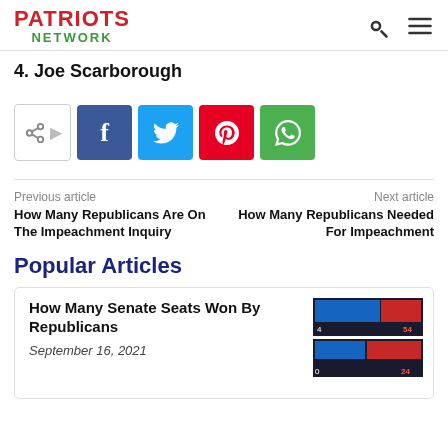PATRIOTS NETWORK
4. Joe Scarborough
[Figure (infographic): Social share buttons: share icon, Facebook, Twitter, Pinterest, WhatsApp]
Previous article
How Many Republicans Are On The Impeachment Inquiry
Next article
How Many Republicans Needed For Impeachment
Popular Articles
How Many Senate Seats Won By Republicans
September 16, 2021